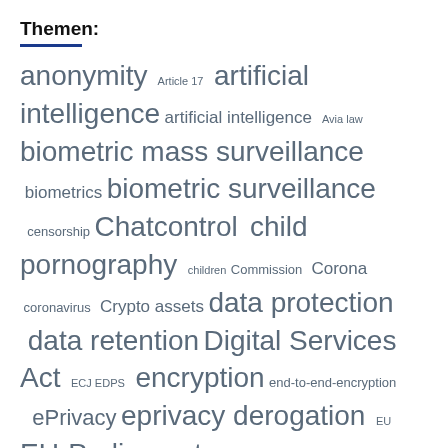Themen:
anonymity Article 17 artificial intelligence artificial intelligence Avia law biometric mass surveillance biometrics biometric surveillance censorship Chatcontrol child pornography children Commission Corona coronavirus Crypto assets data protection data retention Digital Services Act ECJ EDPS encryption end-to-end-encryption ePrivacy eprivacy derogation EU EU-Parliament